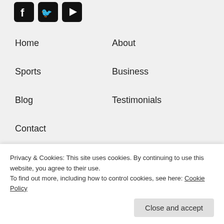[Figure (logo): Social media icons: Facebook, Twitter, YouTube as black rounded square icons]
Home
About
Sports
Business
Blog
Testimonials
Contact
[Figure (logo): Partial IMOCA logo — black rectangle with arc/semicircle shape visible, IMOCA text below]
Privacy & Cookies: This site uses cookies. By continuing to use this website, you agree to their use.
To find out more, including how to control cookies, see here: Cookie Policy
Close and accept